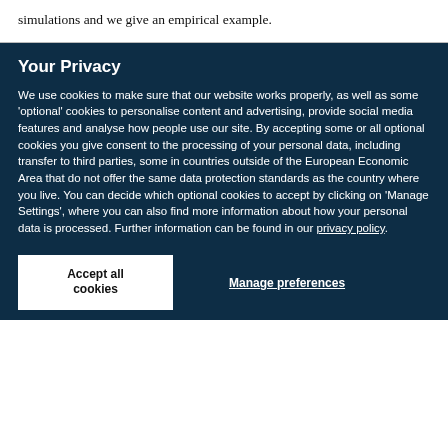simulations and we give an empirical example.
Your Privacy
We use cookies to make sure that our website works properly, as well as some ‘optional’ cookies to personalise content and advertising, provide social media features and analyse how people use our site. By accepting some or all optional cookies you give consent to the processing of your personal data, including transfer to third parties, some in countries outside of the European Economic Area that do not offer the same data protection standards as the country where you live. You can decide which optional cookies to accept by clicking on ‘Manage Settings’, where you can also find more information about how your personal data is processed. Further information can be found in our privacy policy.
Accept all cookies
Manage preferences